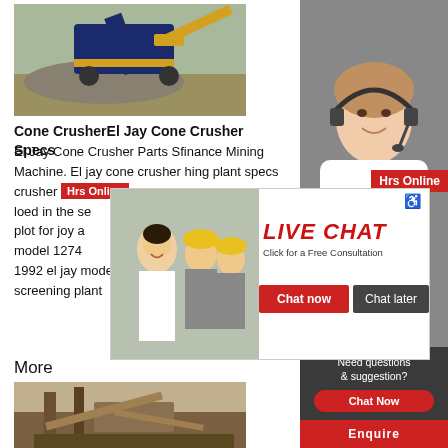[Figure (photo): Mining cone crusher machine in operation at a quarry site, blue machinery with gravel pile]
Cone CrusherEl Jay Cone Crusher Specs
El Jay Cone Crusher Parts Sfinance Mining Machine. El jay cone crusher mining plant specs crusher loed in the se plot for joy a model 1274 1992 el jay model 1274 portable cone cru screening plant
More
[Figure (photo): Large mining screening plant equipment with conveyor belts and machinery]
[Figure (screenshot): Live chat popup overlay with construction workers and a customer service agent. Text: LIVE CHAT, Click for a Free Consultation, Chat now, Chat later]
[Figure (photo): Customer service agent (woman with headset) sidebar with red Hrs Online bar, Need questions & suggestion? Chat Now button, and Enquire bar at bottom]